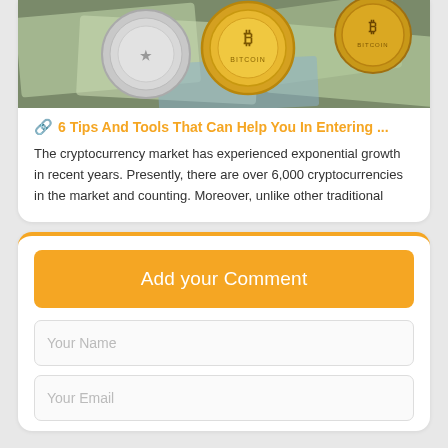[Figure (photo): Photo of cryptocurrency coins (Bitcoin and silver coins) on top of US dollar bills]
🔗 6 Tips And Tools That Can Help You In Entering ...
The cryptocurrency market has experienced exponential growth in recent years. Presently, there are over 6,000 cryptocurrencies in the market and counting. Moreover, unlike other traditional
Add your Comment
Your Name
Your Email